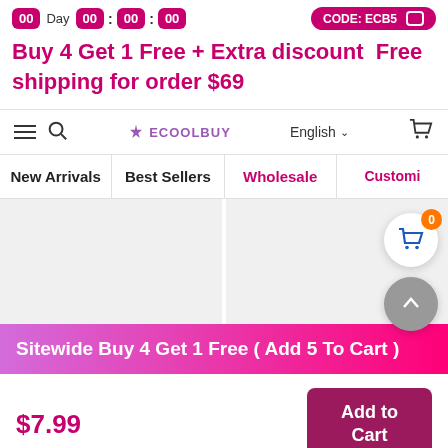00 Day 00 : 00 : 00   CODE: ECB5
Buy 4 Get 1 Free + Extra discount   Free shipping for order $69
[Figure (screenshot): Navigation bar with hamburger menu, search icon, ECOOLBUY logo, English language selector, and cart icon]
[Figure (screenshot): Category navigation bar: New Arrivals, Best Sellers, Wholesale, Customi...]
[Figure (screenshot): Product grid showing two gray product image placeholders, with floating cart button (badge 0) and scroll-to-top button]
Sitewide Buy 4 Get 1 Free ( Add 5 To Cart )
$7.99
Add to Cart